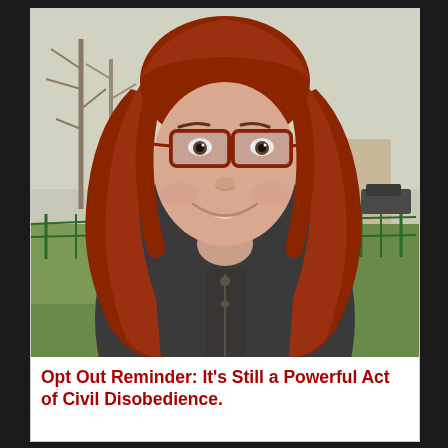[Figure (photo): A woman with long red hair and red-framed glasses, smiling outdoors. She is wearing a dark jacket. In the background there is green grass, trees without leaves, a bridge with arches, and a green metal fence. The sky is overcast.]
Opt Out Reminder: It's Still a Powerful Act of Civil Disobedience.